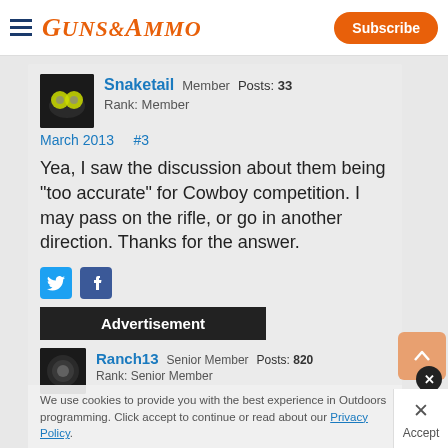GUNS&AMMO  Subscribe
Snaketail  Member  Posts: 33  Rank: Member
March 2013  #3
Yea, I saw the discussion about them being "too accurate" for Cowboy competition. I may pass on the rifle, or go in another direction. Thanks for the answer.
Advertisement
Ranch13  Senior Member  Posts: 820  Rank: Senior Member
We use cookies to provide you with the best experience in Outdoors programming. Click accept to continue or read about our Privacy Policy.